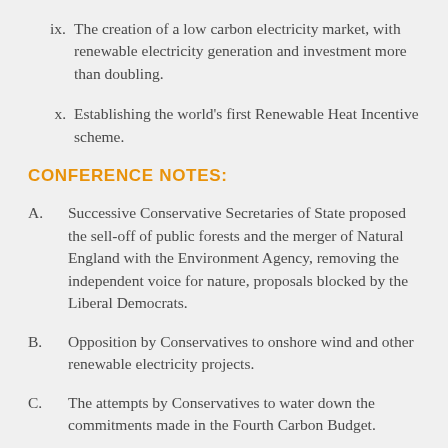ix. The creation of a low carbon electricity market, with renewable electricity generation and investment more than doubling.
x. Establishing the world's first Renewable Heat Incentive scheme.
CONFERENCE NOTES:
A. Successive Conservative Secretaries of State proposed the sell-off of public forests and the merger of Natural England with the Environment Agency, removing the independent voice for nature, proposals blocked by the Liberal Democrats.
B. Opposition by Conservatives to onshore wind and other renewable electricity projects.
C. The attempts by Conservatives to water down the commitments made in the Fourth Carbon Budget.